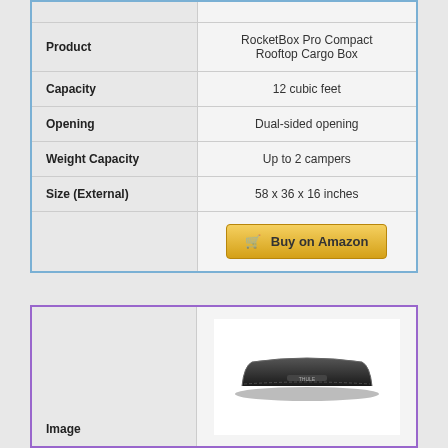|  |  |
| --- | --- |
| Product | RocketBox Pro Compact Rooftop Cargo Box |
| Capacity | 12 cubic feet |
| Opening | Dual-sided opening |
| Weight Capacity | Up to 2 campers |
| Size (External) | 58 x 36 x 16 inches |
|  | Buy on Amazon |
|  |  |
| --- | --- |
| Image | [photo of rooftop cargo box] |